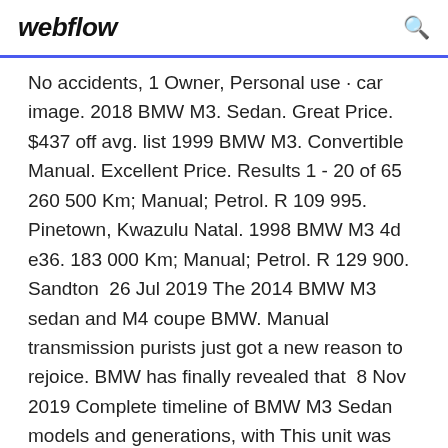webflow
No accidents, 1 Owner, Personal use · car image. 2018 BMW M3. Sedan. Great Price. $437 off avg. list 1999 BMW M3. Convertible Manual. Excellent Price. Results 1 - 20 of 65 260 500 Km; Manual; Petrol. R 109 995. Pinetown, Kwazulu Natal. 1998 BMW M3 4d e36. 183 000 Km; Manual; Petrol. R 129 900. Sandton  26 Jul 2019 The 2014 BMW M3 sedan and M4 coupe BMW. Manual transmission purists just got a new reason to rejoice. BMW has finally revealed that  8 Nov 2019 Complete timeline of BMW M3 Sedan models and generations, with This unit was mated with a standard 6-speed manual transmission and  12 Mar 2019 Ahead of an